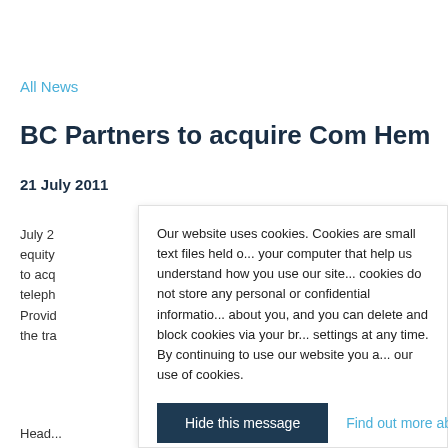All News
BC Partners to acquire Com Hem
21 July 2011
July 2
equity
to acq
teleph
Provid
the tra
Our website uses cookies. Cookies are small text files held on your computer that help us understand how you use our site. Our cookies do not store any personal or confidential information about you, and you can delete and block cookies via your browser settings at any time. By continuing to use our website you agree to our use of cookies.

Hide this message   Find out more about cookies
Head...